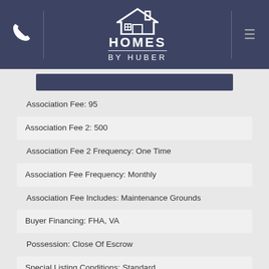[Figure (logo): Homes By Huber logo with house icon and navigation header on dark navy background]
Association Fee: 95
Association Fee 2: 500
Association Fee 2 Frequency: One Time
Association Fee Frequency: Monthly
Association Fee Includes: Maintenance Grounds
Buyer Financing: FHA, VA
Possession: Close Of Escrow
Special Listing Conditions: Standard